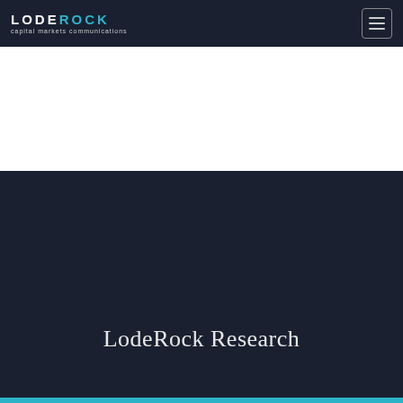LODEROCK capital markets communications
LodeRock Research